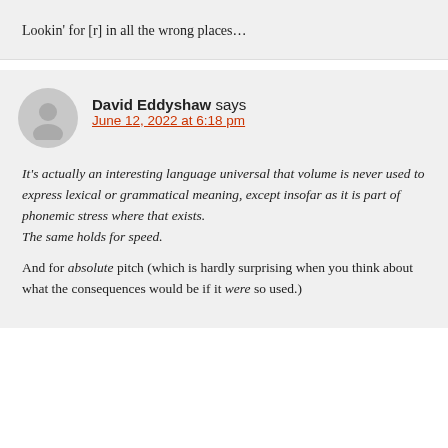Lookin' for [r] in all the wrong places…
David Eddyshaw says
June 12, 2022 at 6:18 pm
It's actually an interesting language universal that volume is never used to express lexical or grammatical meaning, except insofar as it is part of phonemic stress where that exists.
The same holds for speed.

And for absolute pitch (which is hardly surprising when you think about what the consequences would be if it were so used.)